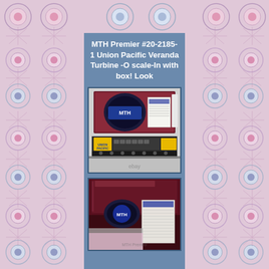[Figure (illustration): Decorative kaleidoscope/fractal border pattern in pink, blue, and white tones surrounding the central product listing panel]
MTH Premier #20-2185-1 Union Pacific Veranda Turbine -O scale-In with box! Look
[Figure (photo): Photo of MTH Premier Union Pacific Veranda Turbine model train set with its purple display box and yellow locomotive. eBay watermark visible.]
[Figure (photo): Close-up photo of the MTH Premier model train box (top view), showing the dark maroon/purple box lid with MTH branding and product documentation.]